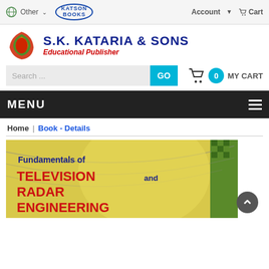Other | KATSON BOOKS | Account | Cart
[Figure (logo): S.K. Kataria & Sons logo with colorful swirl icon and text 'S.K. KATARIA & SONS' and 'Educational Publisher']
Search ...
MY CART 0
MENU
Home | Book - Details
[Figure (photo): Book cover showing 'Fundamentals of TELEVISION and RADAR ENGINEERING' with yellow and green background]